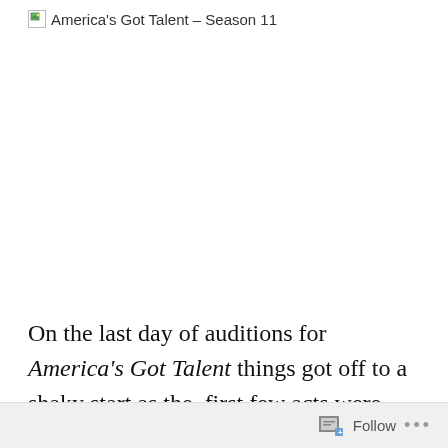America's Got Talent – Season 11
[Figure (other): Large image placeholder (broken/unloaded image) for America's Got Talent Season 11]
On the last day of auditions for America's Got Talent things got off to a shaky start as the first few acts were heavy on the delusional front. Things quickly picked up
Follow ...